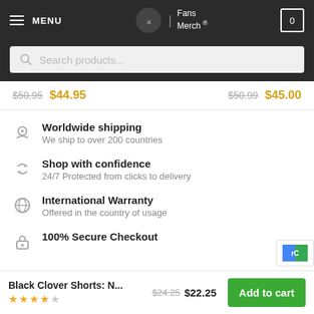MENU | Fans Merch ® | Cart 0
Search products...
$50.95  $44.95    $50.99  $45.00
Worldwide shipping — We ship to over 200 countries
Shop with confidence — 24/7 Protected from clicks to delivery
International Warranty — Offered in the country of usage
100% Secure Checkout
Black Clover Shorts: N...  $24.25  $22.25  Add to cart  ★★★★☆